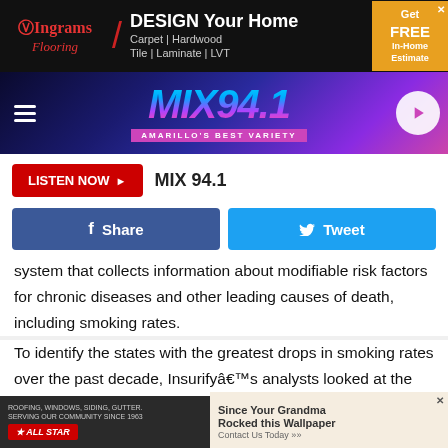[Figure (infographic): Ingrams Flooring advertisement banner: DESIGN Your Home - Carpet | Hardwood | Tile | Laminate | LVT - Get FREE In-Home Estimate]
[Figure (logo): MIX 94.1 Amarillo's Best Variety radio station header with hamburger menu and play button]
[Figure (infographic): Listen Now button with MIX 94.1 station name]
[Figure (infographic): Share and Tweet social media buttons]
system that collects information about modifiable risk factors for chronic diseases and other leading causes of death, including smoking rates.
To identify the states with the greatest drops in smoking rates over the past decade, Insurifyâs analysts looked at the proportion of people who identified as current smokers, or people who reported ever smoking at least 100 cigarettes
[Figure (infographic): Bottom advertisement: All Star Roofing Windows Siding Gutter serving our community since 1963 / Since Your Grandma Rocked this Wallpaper Contact Us Today]